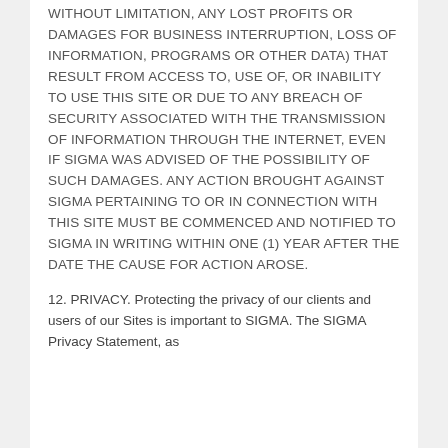WITHOUT LIMITATION, ANY LOST PROFITS OR DAMAGES FOR BUSINESS INTERRUPTION, LOSS OF INFORMATION, PROGRAMS OR OTHER DATA) THAT RESULT FROM ACCESS TO, USE OF, OR INABILITY TO USE THIS SITE OR DUE TO ANY BREACH OF SECURITY ASSOCIATED WITH THE TRANSMISSION OF INFORMATION THROUGH THE INTERNET, EVEN IF SIGMA WAS ADVISED OF THE POSSIBILITY OF SUCH DAMAGES. ANY ACTION BROUGHT AGAINST SIGMA PERTAINING TO OR IN CONNECTION WITH THIS SITE MUST BE COMMENCED AND NOTIFIED TO SIGMA IN WRITING WITHIN ONE (1) YEAR AFTER THE DATE THE CAUSE FOR ACTION AROSE.
12. PRIVACY. Protecting the privacy of our clients and users of our Sites is important to SIGMA. The SIGMA Privacy Statement, as